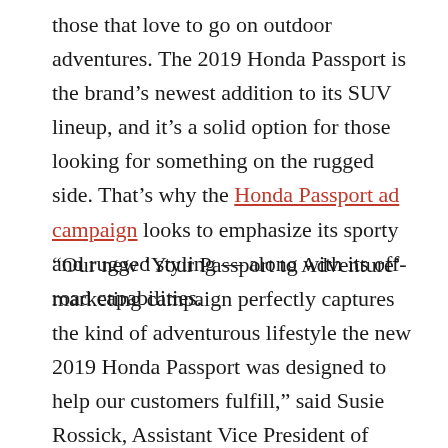those that love to go on outdoor adventures. The 2019 Honda Passport is the brand's newest addition to its SUV lineup, and it's a solid option for those looking for something on the rugged side. That's why the Honda Passport ad campaign looks to emphasize its sporty and rugged styling — along with its off-road capabilities.
“Our new ‘Your Passport to Adventure’ marketing campaign perfectly captures the kind of adventurous lifestyle the new 2019 Honda Passport was designed to help our customers fulfill,” said Susie Rossick, Assistant Vice President of Honda Auto Marketing at American Honda Motor Co., Inc.